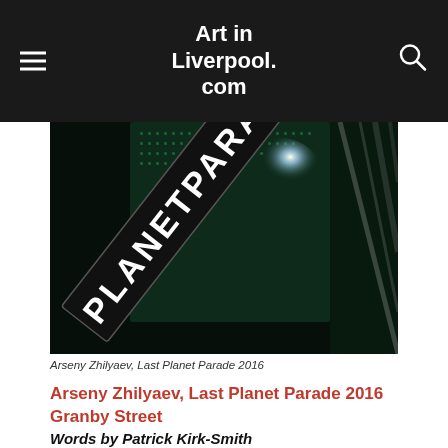Art in Liverpool.com
[Figure (photo): Close-up night photograph of an illuminated diagonal banner reading 'PLANETPARADE' in white text on black background, with bright LED lights and reflective diagonal glass or metal structures in the background.]
Arseny Zhilyaev, Last Planet Parade 2016
Arseny Zhilyaev, Last Planet Parade 2016
Granby Street
Words by Patrick Kirk-Smith
This website has followed the history of Granby intently for